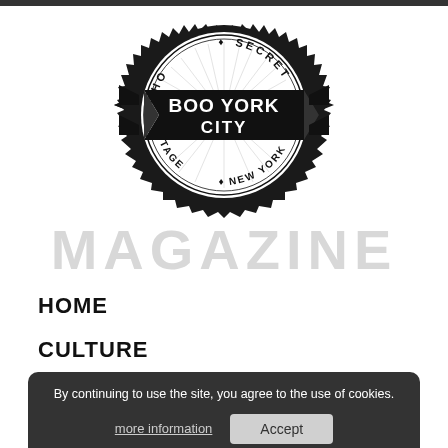[Figure (logo): Boo York City circular badge logo with banner ribbon. Text reads: BOHO SECRET, BOO YORK CITY, VINTAGE NEW YORK]
MAGAZINE
HOME
CULTURE
VINTAGE
By continuing to use the site, you agree to the use of cookies. more information Accept
ABOUT